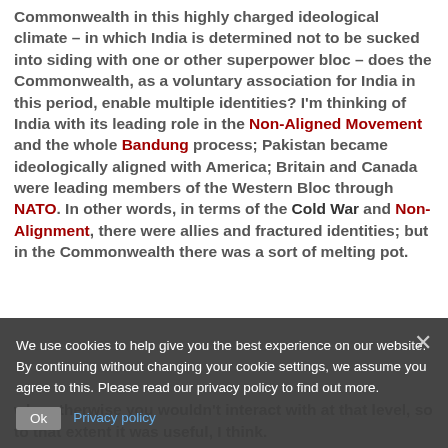Commonwealth in this highly charged ideological climate – in which India is determined not to be sucked into siding with one or other superpower bloc – does the Commonwealth, as a voluntary association for India in this period, enable multiple identities? I'm thinking of India with its leading role in the Non-Aligned Movement and the whole Bandung process; Pakistan became ideologically aligned with America; Britain and Canada were leading members of the Western Bloc through NATO. In other words, in terms of the Cold War and Non-Alignment, there were allies and fractured identities; but in the Commonwealth there was a sort of melting pot.
We use cookies to help give you the best experience on our website. By continuing without changing your cookie settings, we assume you agree to this. Please read our privacy policy to find out more.
who otherwise you wouldn't interact with at that level, so to that extent it was useful, I think.